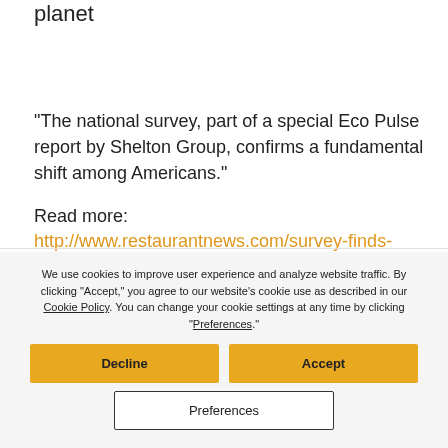planet
“The national survey, part of a special Eco Pulse report by Shelton Group, confirms a fundamental shift among Americans.”
Read more: http://www.restaurantnews.com/survey-finds-
We use cookies to improve user experience and analyze website traffic. By clicking “Accept,” you agree to our website’s cookie use as described in our Cookie Policy. You can change your cookie settings at any time by clicking “Preferences.”
Decline
Accept
Preferences